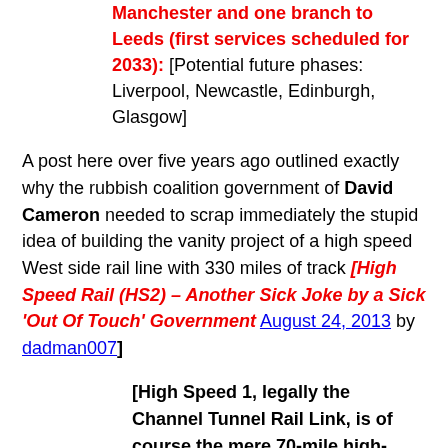Manchester and one branch to Leeds (first services scheduled for 2033): [Potential future phases: Liverpool, Newcastle, Edinburgh, Glasgow]
A post here over five years ago outlined exactly why the rubbish coalition government of David Cameron needed to scrap immediately the stupid idea of building the vanity project of a high speed West side rail line with 330 miles of track [High Speed Rail (HS2) – Another Sick Joke by a Sick 'Out Of Touch' Government August 24, 2013 by dadman007]
[High Speed 1, legally the Channel Tunnel Rail Link, is of course the mere 70-mile high-speed railway between central London and the UK end of the Channel Tunnel...